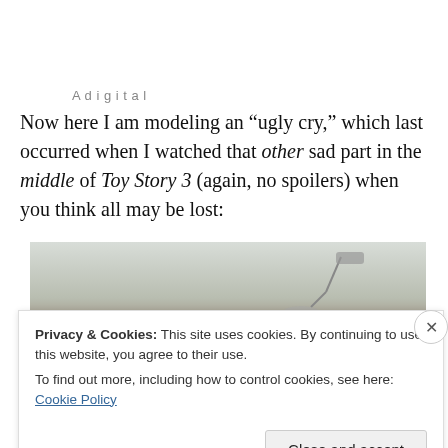A d i g i t a l
Now here I am modeling an “ugly cry,” which last occurred when I watched that other sad part in the middle of Toy Story 3 (again, no spoilers) when you think all may be lost:
[Figure (photo): Partial photo of a person with brown hair, taken indoors with a desk lamp visible in the background against a light gray wall.]
Privacy & Cookies: This site uses cookies. By continuing to use this website, you agree to their use.
To find out more, including how to control cookies, see here: Cookie Policy
Close and accept